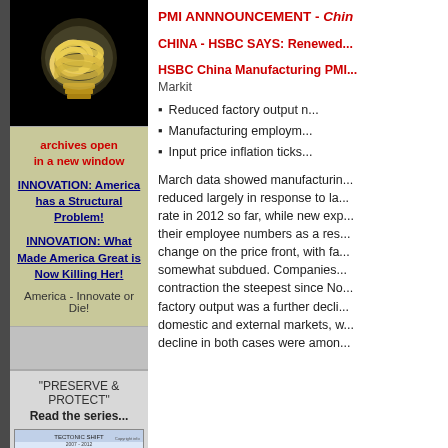[Figure (photo): Glowing compact fluorescent light bulb (CFL) against black background]
archives open
in a new window
INNOVATION: America has a Structural Problem!
INNOVATION: What Made America Great is Now Killing Her!
America - Innovate or Die!
"PRESERVE & PROTECT"
Read the series...
[Figure (infographic): Tectonic Shift 2007-2012 diagram showing financial crisis and economic order changes]
PMI ANNNOUNCEMENT - Chin...
CHINA - HSBC SAYS: Renewed...
HSBC China Manufacturing PMI...
Markit
Reduced factory output n...
Manufacturing employm...
Input price inflation ticks...
March data showed manufacturin... reduced largely in response to la... rate in 2012 so far, while new exp... their employee numbers as a res... change on the price front, with fa... somewhat subdued. Companies... contraction the steepest since No... factory output was a further decli... domestic and external markets, w... decline in both cases were amon...